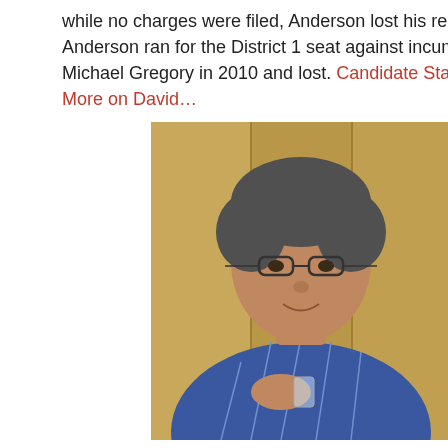while no charges were filed, Anderson lost his re-election. Anderson ran for the District 1 seat against incumbent Michael Gregory in 2010 and lost. Candidate Statement. More on David…
[Figure (photo): Photo of Kenneth Pon, a man wearing glasses and a blue Hawaiian floral shirt, sitting and gesturing with his hands]
Kenneth Pon
Cheery accountant Kenneth Pon (Certified Public Accountant) is the comic relief